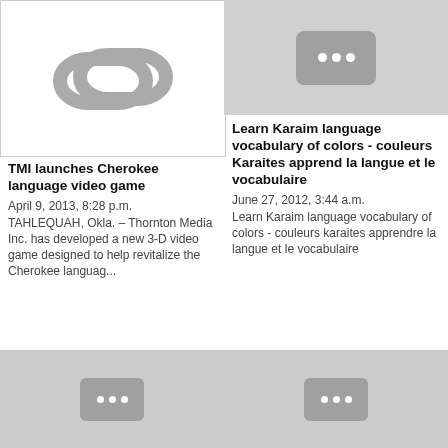[Figure (illustration): Chain link icon on white background]
TMI launches Cherokee language video game
April 9, 2013, 8:28 p.m.
TAHLEQUAH, Okla. – Thornton Media Inc. has developed a new 3-D video game designed to help revitalize the Cherokee languag...
[Figure (screenshot): Video thumbnail placeholder with three dots icon]
Learn Karaim language vocabulary of colors - couleurs Karaites apprendre la langue et le vocabulaire
June 27, 2012, 3:44 a.m.
Learn Karaim language vocabulary of colors - couleurs karaites apprendre la langue et le vocabulaire
[Figure (screenshot): Video thumbnail placeholder with three dots icon]
[Figure (screenshot): Video thumbnail placeholder with three dots icon]